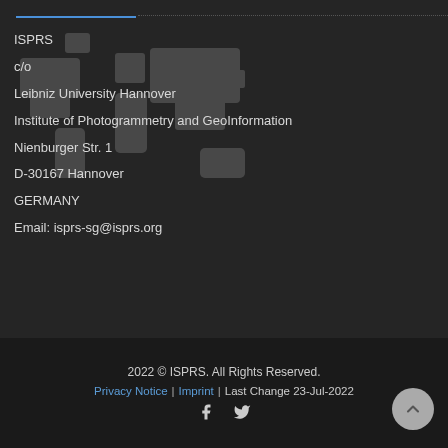ISPRS
c/o
Leibniz University Hannover
Institute of Photogrammetry and GeoInformation
Nienburger Str. 1
D-30167 Hannover
GERMANY
Email: isprs-sg@isprs.org
2022 © ISPRS. All Rights Reserved.
Privacy Notice | Imprint | Last Change 23-Jul-2022